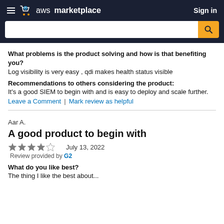aws marketplace  Sign in
What problems is the product solving and how is that benefiting you?
Log visibility is very easy , qdi makes health status visible
Recommendations to others considering the product:
It's a good SIEM to begin with and is easy to deploy and scale further.
Leave a Comment  |  Mark review as helpful
Aar A.
A good product to begin with
★★★★☆   July 13, 2022
Review provided by G2
What do you like best?
The thing I like the best about...